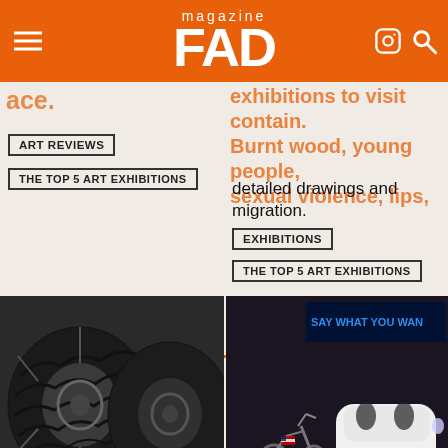FAD magazine
exhibitions to visit contain. Burnt wood, young people, sexual violence, lips, detailed drawings and migration.
ART REVIEWS
THE TOP 5 ART EXHIBITIONS
EXHIBITIONS
THE TOP 5 ART EXHIBITIONS
[Figure (photo): Close-up of large dark car tires with textured rubber]
[Figure (photo): Museum exhibit showing a chopper motorcycle and a white Google self-driving car with blue LED text in background reading SAY WHAT YOU WANT]
The Top 8 Art Exhibitions to see in London this week
The Top 6 Art Exhibitions to see in London this week